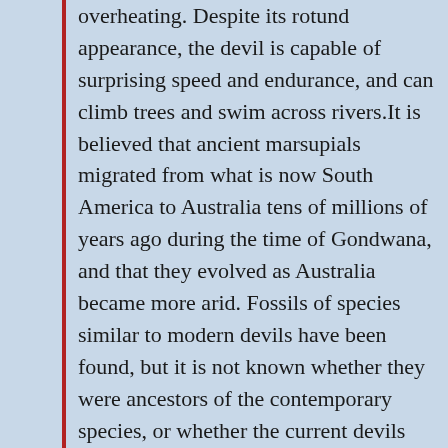overheating. Despite its rotund appearance, the devil is capable of surprising speed and endurance, and can climb trees and swim across rivers.It is believed that ancient marsupials migrated from what is now South America to Australia tens of millions of years ago during the time of Gondwana, and that they evolved as Australia became more arid. Fossils of species similar to modern devils have been found, but it is not known whether they were ancestors of the contemporary species, or whether the current devils co-existed with these species. The date that the Tasmanian devil became locally extinct from the Australian mainland is unclear; most evidence suggests they had contracted to three relict populations around 3000 years ago. A tooth found in Augusta, Western Australia has been dated to 430 years ago, but archaeologist Oliver Brown disputes this and considers the devil's mainland extinction to